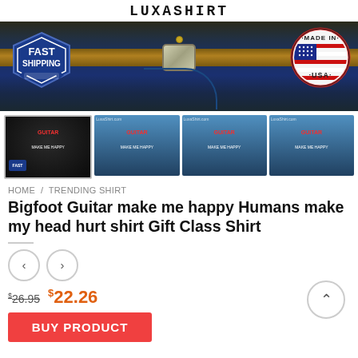LUXASHIRT
[Figure (photo): Banner image showing person wearing jeans with belt, with Fast Shipping badge on left and Made in USA badge on right]
[Figure (photo): Four product thumbnail images showing Bigfoot Guitar shirt in different styles: t-shirt, tank top, long sleeve (2x)]
HOME / TRENDING SHIRT
Bigfoot Guitar make me happy Humans make my head hurt shirt Gift Class Shirt
[Figure (other): Left and right navigation arrow buttons]
$26.95  $22.26
BUY PRODUCT